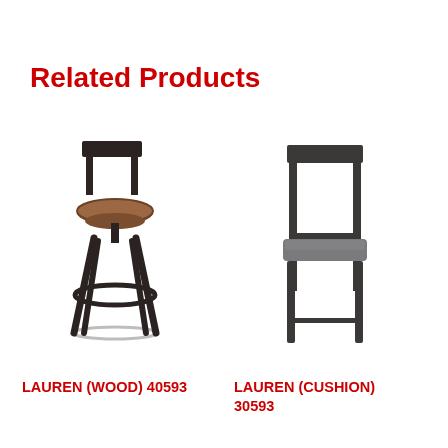Related Products
[Figure (illustration): Bar stool with round wooden seat and dark metal base with circular footrest]
LAUREN (WOOD) 40593
[Figure (illustration): Dining chair with cushioned seat, dark frame, and low backrest with wood panel]
LAUREN (CUSHION) 30593